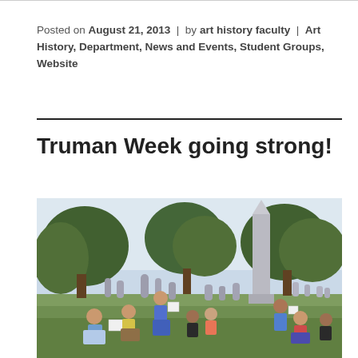Posted on August 21, 2013 | by art history faculty | Art History, Department, News and Events, Student Groups, Website
Truman Week going strong!
[Figure (photo): Group of students sketching and drawing at a cemetery with gravestones and trees in the background during Truman Week activity.]